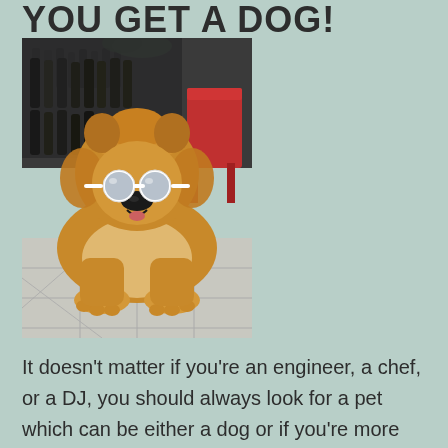YOU GET A DOG!
[Figure (photo): A fluffy golden/tan Chow Chow puppy wearing white round sunglasses, lying on a tiled floor with a red chair and shelves with bottles in the background.]
It doesn’t matter if you’re an engineer, a chef, or a DJ, you should always look for a pet which can be either a dog or if you’re more specific then why not a cat? However,